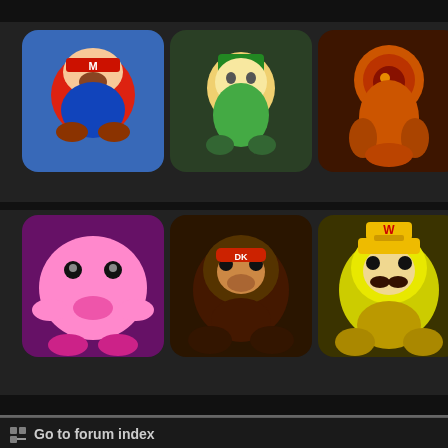[Figure (screenshot): Gaming website header with character portraits grid (Mario, Link, Samus, Pikachu, Kirby, Donkey Kong, Wario, Fox McCloud) and partial site title 'NE... W...' in dark red on black background]
[Figure (screenshot): Navigation bar with pixel dot icon on left, MAIN and FORUM buttons in black rounded rectangles on dark gray background]
Go to forum index
[Figure (illustration): Signature image showing cartoon face with text 'All cool people are named Andy.']
Andrew N